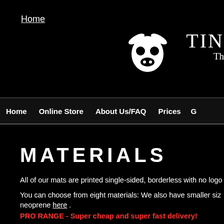Home
[Figure (logo): White cow/bull skull logo icon with horns on black background, next to partial brand name 'TIN' and tagline starting with 'Th']
Home  Online Store  About Us/FAQ  Prices  G
MATERIALS
All of our mats are printed single-sided, borderless with no logo
You can choose from eight materials: We also have smaller size neoprene here .
PRO RANGE - Super cheap and super fast delivery!
PVC - Rolls up, wipes clean, superb detail, available at any size